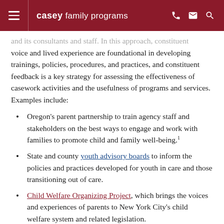casey family programs
and its consultants and staff. In this approach, constituent voice and lived experience are foundational in developing trainings, policies, procedures, and practices, and constituent feedback is a key strategy for assessing the effectiveness of casework activities and the usefulness of programs and services. Examples include:
Oregon's parent partnership to train agency staff and stakeholders on the best ways to engage and work with families to promote child and family well-being.¹
State and county youth advisory boards to inform the policies and practices developed for youth in care and those transitioning out of care.
Child Welfare Organizing Project, which brings the voices and experiences of parents to New York City's child welfare system and related legislation.
Rise, based in NYC, builds parent leadership to drive child welfare solutions that parents believe will help their families thrive. Rise's parent-written magazine